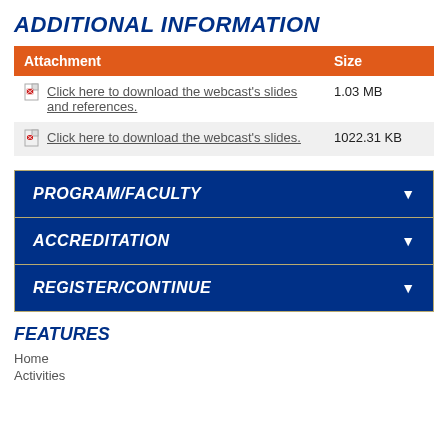ADDITIONAL INFORMATION
| Attachment | Size |
| --- | --- |
| Click here to download the webcast's slides and references. | 1.03 MB |
| Click here to download the webcast's slides. | 1022.31 KB |
PROGRAM/FACULTY
ACCREDITATION
REGISTER/CONTINUE
FEATURES
Home
Activities